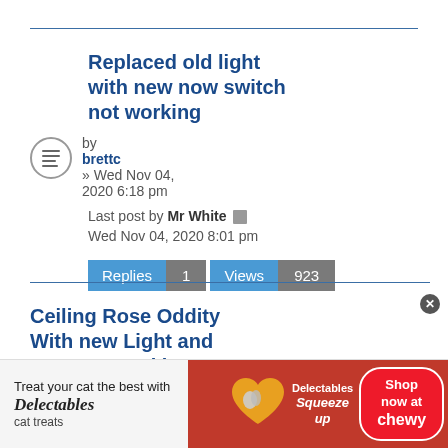Replaced old light with new now switch not working
by brettc » Wed Nov 04, 2020 6:18 pm
Last post by Mr White Wed Nov 04, 2020 8:01 pm
Replies 1 Views 923
Ceiling Rose Oddity With new Light and now not Working
by Dandolfin » Fri Jun 09
[Figure (screenshot): Advertisement banner for Delectables cat treats featuring a cat photo, heart logo, product images and Chewy.com shop now button]